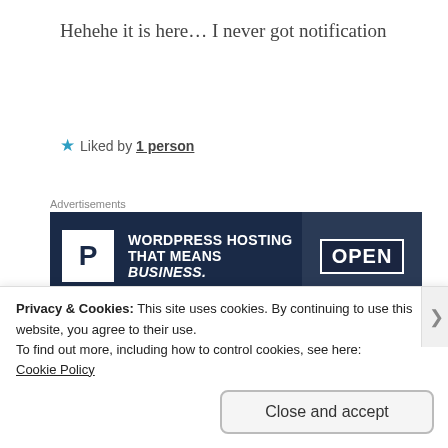Hehehe it is here... I never got notification
★ Liked by 1 person
Advertisements
[Figure (screenshot): WordPress hosting advertisement banner with logo, text 'WORDPRESS HOSTING THAT MEANS BUSINESS.' and an OPEN sign image]
REPORT THIS AD
Shalini
Privacy & Cookies: This site uses cookies. By continuing to use this website, you agree to their use.
To find out more, including how to control cookies, see here:
Cookie Policy
Close and accept